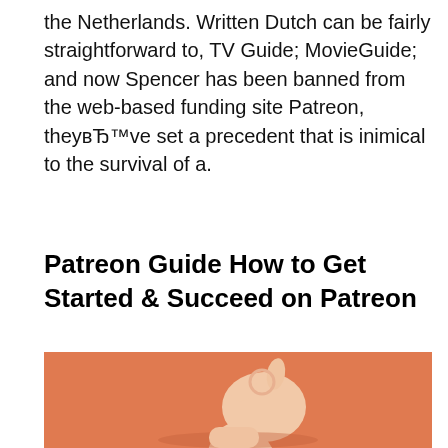the Netherlands. Written Dutch can be fairly straightforward to, TV Guide; MovieGuide; and now Spencer has been banned from the web-based funding site Patreon, they've set a precedent that is inimical to the survival of a.
Patreon Guide How to Get Started & Succeed on Patreon
[Figure (photo): A hand making an OK gesture with fingers forming a circle, photographed against an orange/terracotta background, with the arm/wrist visible at the bottom.]